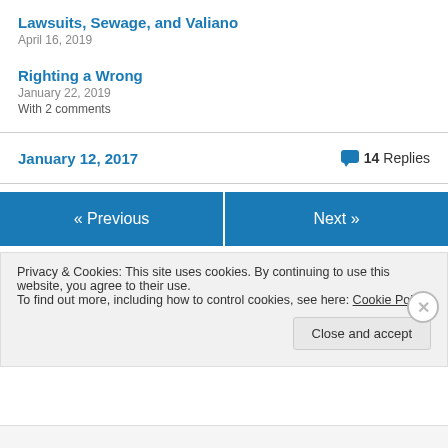Lawsuits, Sewage, and Valiano
April 16, 2019
Righting a Wrong
January 22, 2019
With 2 comments
January 12, 2017
14 Replies
« Previous
Next »
Privacy & Cookies: This site uses cookies. By continuing to use this website, you agree to their use.
To find out more, including how to control cookies, see here: Cookie Policy
Close and accept